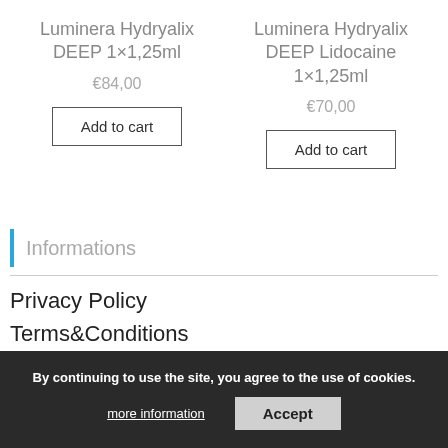Luminera Hydryalix DEEP 1×1,25ml
€84,00
Add to cart
Luminera Hydryalix DEEP Lidocaine 1×1,25ml
€70,00
Add to cart
Informations
Privacy Policy
Terms&Conditions
Methods of payments
By continuing to use the site, you agree to the use of cookies.
more information
Accept